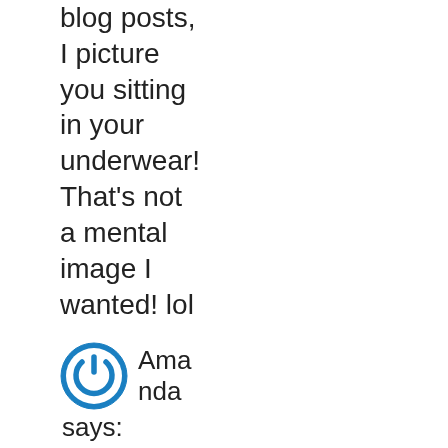blog posts, I picture you sitting in your underwear! That's not a mental image I wanted! lol
[Figure (logo): Circular blue power/on button icon with white power symbol]
Amanda says: